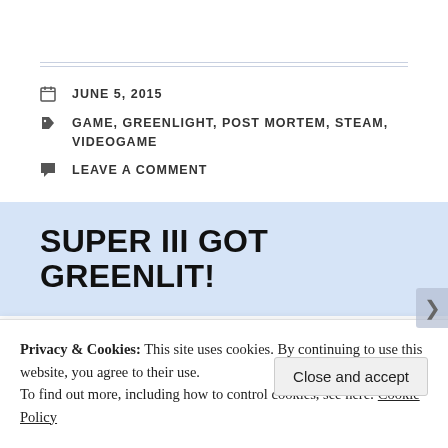JUNE 5, 2015
GAME, GREENLIGHT, POST MORTEM, STEAM, VIDEOGAME
LEAVE A COMMENT
SUPER III GOT GREENLIT!
[Figure (photo): Dark green and black landscape or game screenshot image strip]
Privacy & Cookies: This site uses cookies. By continuing to use this website, you agree to their use.
To find out more, including how to control cookies, see here: Cookie Policy
Close and accept